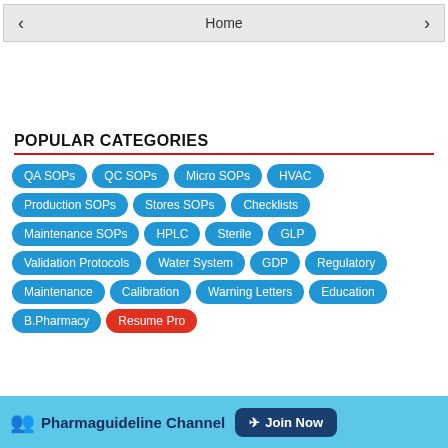Home
POPULAR CATEGORIES
QA SOPs
QC SOPs
Micro SOPs
HVAC
Production SOPs
Stores SOPs
Checklists
Maintenance SOPs
HPLC
Sterile
GLP
Validation Protocols
Water System
GDP
Regulatory
Maintenance
Calibration
Warning Letters
Education
B.Pharmacy
Resume Pro
Pharmaguideline Channel  Join Now